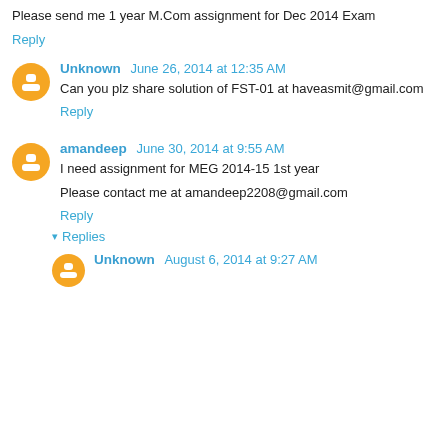Please send me 1 year M.Com assignment for Dec 2014 Exam
Reply
Unknown June 26, 2014 at 12:35 AM
Can you plz share solution of FST-01 at haveasmit@gmail.com
Reply
amandeep June 30, 2014 at 9:55 AM
I need assignment for MEG 2014-15 1st year
Please contact me at amandeep2208@gmail.com
Reply
Replies
Unknown August 6, 2014 at 9:27 AM